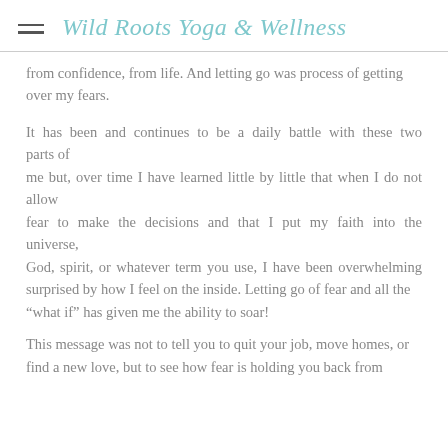Wild Roots Yoga & Wellness
from confidence, from life. And letting go was process of getting over my fears.
It has been and continues to be a daily battle with these two parts of me but, over time I have learned little by little that when I do not allow fear to make the decisions and that I put my faith into the universe, God, spirit, or whatever term you use, I have been overwhelming surprised by how I feel on the inside. Letting go of fear and all the “what if” has given me the ability to soar!
This message was not to tell you to quit your job, move homes, or find a new love, but to see how fear is holding you back from